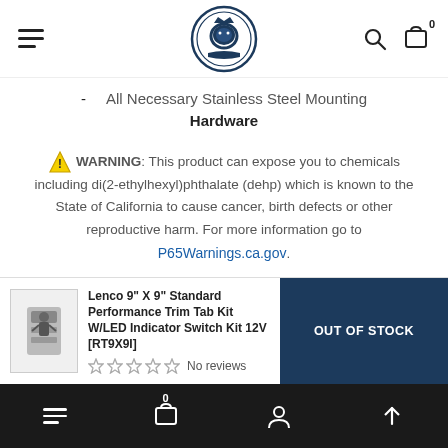Navigation header with menu, logo, search and cart icons
- All Necessary Stainless Steel Mounting Hardware
⚠ WARNING: This product can expose you to chemicals including di(2-ethylhexyl)phthalate (dehp) which is known to the State of California to cause cancer, birth defects or other reproductive harm. For more information go to P65Warnings.ca.gov.
Lenco 9" X 9" Standard Performance Trim Tab Kit W/LED Indicator Switch Kit 12V [RT9X9I] No reviews OUT OF STOCK
Bottom navigation bar with menu, cart (0), user, and scroll-up icons